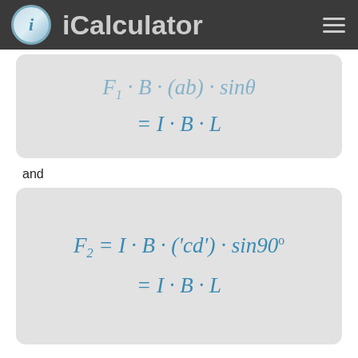iCalculator
and
Therefore, the magnetic forces F₁ and F₂ are equal in magnitude and opposite in direction. If we denote by x/= the distance from the